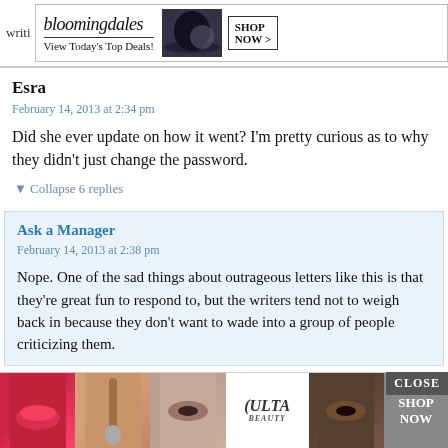[Figure (screenshot): Bloomingdale's advertisement banner with hat model, 'View Today's Top Deals!' text and 'SHOP NOW >' button]
Esra
February 14, 2013 at 2:34 pm
Did she ever update on how it went? I'm pretty curious as to why they didn't just change the password.
▼ Collapse 6 replies
Ask a Manager
February 14, 2013 at 2:38 pm
Nope. One of the sad things about outrageous letters like this is that they're great fun to respond to, but the writers tend not to weigh back in because they don't want to wade into a group of people criticizing them.
[Figure (screenshot): Ulta beauty advertisement with makeup imagery, Ulta logo, and 'SHOP NOW' button. CLOSE button visible.]